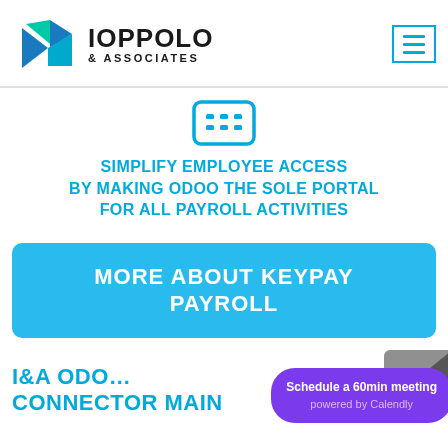[Figure (logo): Ioppolo & Associates logo with triangular icon in teal/blue/green and company name text]
[Figure (illustration): Keyboard/calculator icon in teal outline style]
SIMPLIFY EMPLOYEE ACCESS BY MAKING ODOO THE SOLE PORTAL FOR ALL PAYROLL ACTIVITIES
MORE ABOUT KEYPAY PAYROLL
I&A ODOO CONNECTOR MAIN
Schedule a 60min meeting powered by Calendly